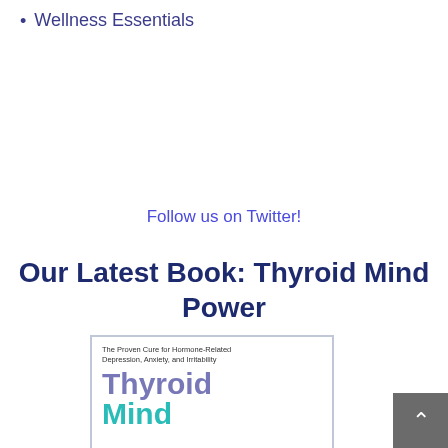Wellness Essentials
Follow us on Twitter!
Our Latest Book: Thyroid Mind Power
[Figure (photo): Book cover of Thyroid Mind Power showing the title text in purple/teal on white background with subtitle 'The Proven Cure for Hormone-Related Depression, Anxiety, and Irritability']